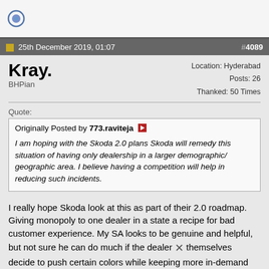25th December 2019, 01:07  #4089
Kray.
BHPian
Location: Hyderabad
Posts: 26
Thanked: 50 Times
Quote:
Originally Posted by 773.raviteja
I am hoping with the Skoda 2.0 plans Skoda will remedy this situation of having only dealership in a larger demographic/ geographic area. I believe having a competition will help in reducing such incidents.
I really hope Skoda look at this as part of their 2.0 roadmap. Giving monopoly to one dealer in a state a recipe for bad customer experience. My SA looks to be genuine and helpful, but not sure he can do much if the dealer themselves decide to push certain colors while keeping more in-demand ones saved for next year.
Hopefully that not the case but I might also try checking with other states and write to Skoda India for color availability.